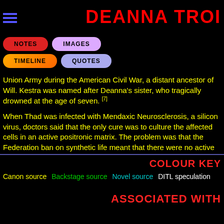DEANNA TROI
[Figure (screenshot): Navigation buttons: NOTES (red), IMAGES (purple), TIMELINE (orange), QUOTES (blue-grey)]
Union Army during the American Civil War, a distant ancestor of Will. Kestra was named after Deanna's sister, who tragically drowned at the age of seven. [7]
When Thad was infected with Mendaxic Neurosclerosis, a silicon virus, doctors said that the only cure was to culture the affected cells in an active positronic matrix. The problem was that the Federation ban on synthetic life meant that there were no active positronic matrices in existence any more. In a last ditch attempt to help him, Troi and her family moved to the planet Nepanthe, which was known for its regenerative properties. Thad came to think of the planet as his own homeworld. Ultimately the plan was unsuccessful and Thad passed away. Deanna and her family remained on the planet after his passing. [7]
COLOUR KEY
Canon source   Backstage source   Novel source   DITL speculation
ASSOCIATED WITH